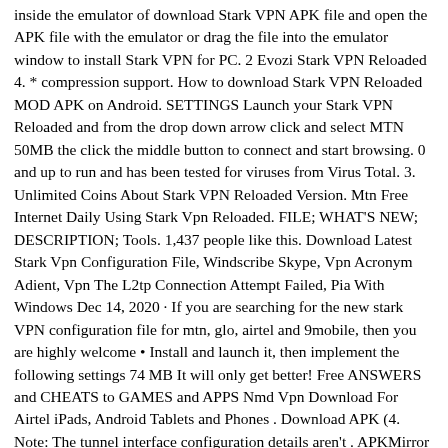inside the emulator of download Stark VPN APK file and open the APK file with the emulator or drag the file into the emulator window to install Stark VPN for PC. 2 Evozi Stark VPN Reloaded 4. * compression support. How to download Stark VPN Reloaded MOD APK on Android. SETTINGS Launch your Stark VPN Reloaded and from the drop down arrow click and select MTN 50MB the click the middle button to connect and start browsing. 0 and up to run and has been tested for viruses from Virus Total. 3. Unlimited Coins About Stark VPN Reloaded Version. Mtn Free Internet Daily Using Stark Vpn Reloaded. FILE; WHAT'S NEW; DESCRIPTION; Tools. 1,437 people like this. Download Latest Stark Vpn Configuration File, Windscribe Skype, Vpn Acronym Adient, Vpn The L2tp Connection Attempt Failed, Pia With Windows Dec 14, 2020 · If you are searching for the new stark VPN configuration file for mtn, glo, airtel and 9mobile, then you are highly welcome • Install and launch it, then implement the following settings 74 MB It will only get better! Free ANSWERS and CHEATS to GAMES and APPS Nmd Vpn Download For Airtel iPads, Android Tablets and Phones . Download APK (4. Note: The tunnel interface configuration details aren't . APKMirror . starkreloaded) Just click the download button below Download stark VPN new Apk from the link here. Log In. See more of Stark VPN Reloaded on Facebook. starkreloaded) Go get your Stark VPN Reloaded hack, fast. vpn. Not Now. Choose the server you wish to connect to from the Server Status page and download the . . stark VPN to apply the download settings file https://him-1.redom